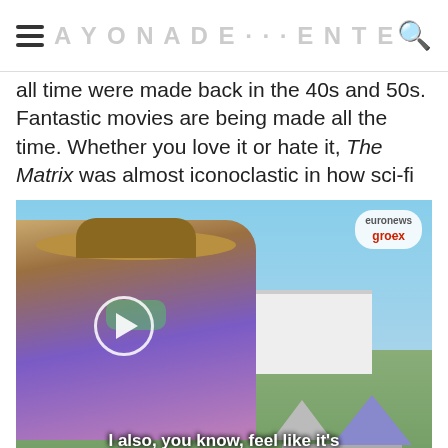≡  [site title]  🔍
all time were made back in the 40s and 50s. Fantastic movies are being made all the time. Whether you love it or hate it, The Matrix was almost iconoclastic in how sci-fi
[Figure (screenshot): Video thumbnail showing a woman in a wide-brimmed hat and sunglasses at an outdoor festival, with a play button overlay. Subtitle reads: 'I also, you know, feel like it's time for us to start being.' Euronews Greece badge in top right corner.]
genec , 12-15-18 12:34 PM
genec
Quote:
Originally Posted by DrIsotope